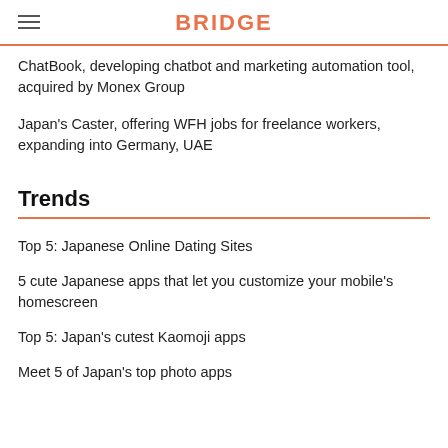BRIDGE
ChatBook, developing chatbot and marketing automation tool, acquired by Monex Group
Japan's Caster, offering WFH jobs for freelance workers, expanding into Germany, UAE
Trends
Top 5: Japanese Online Dating Sites
5 cute Japanese apps that let you customize your mobile's homescreen
Top 5: Japan's cutest Kaomoji apps
Meet 5 of Japan's top photo apps